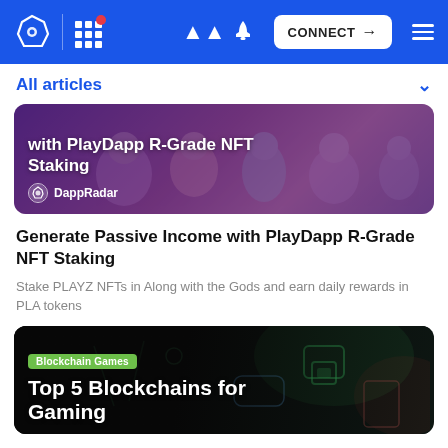DappRadar navigation bar with logo, grid menu, bell notification, CONNECT button, and hamburger menu
All articles
[Figure (illustration): Hero banner image for 'Generate Passive Income with PlayDapp R-Grade NFT Staking' article, showing cartoon characters on purple/pink gradient background with DappRadar branding. Text overlay: 'with PlayDapp R-Grade NFT Staking' and DappRadar logo.]
Generate Passive Income with PlayDapp R-Grade NFT Staking
Stake PLAYZ NFTs in Along with the Gods and earn daily rewards in PLA tokens
[Figure (illustration): Hero banner for 'Top 5 Blockchains for Gaming' article with dark background, blockchain/gaming themed imagery (lock, game controller, cards). Badge: 'Blockchain Games'. Title text: 'Top 5 Blockchains for Gaming' (partially visible).]